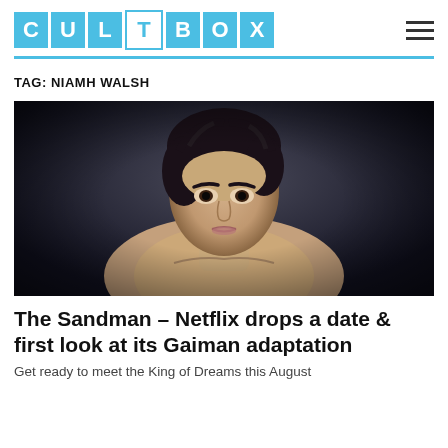CULTBOX
TAG: NIAMH WALSH
[Figure (photo): Dark moody photo of a shirtless young man with dark hair looking intensely at the camera, promotional image for The Sandman Netflix series]
The Sandman – Netflix drops a date & first look at its Gaiman adaptation
Get ready to meet the King of Dreams this August